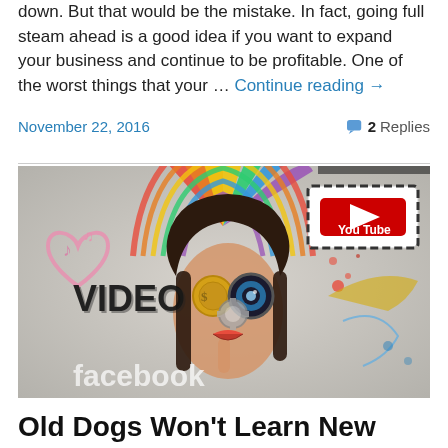down. But that would be the mistake. In fact, going full steam ahead is a good idea if you want to expand your business and continue to be profitable. One of the worst things that your … Continue reading →
November 22, 2016
2 Replies
[Figure (illustration): Collage illustration featuring a woman with finger to lips in a shushing gesture, surrounded by social media icons including YouTube logo, video film strip, gears, a camera lens, heart symbols, musical notes, and text overlays including 'VIDEO', 'facebook', with colorful rainbow, paint splashes and abstract elements.]
Old Dogs Won't Learn New